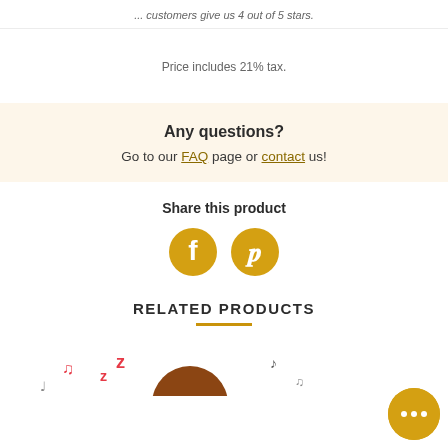... customers give us 4 out of 5 stars.
Price includes 21% tax.
Any questions?
Go to our FAQ page or contact us!
Share this product
[Figure (illustration): Facebook and Pinterest social share icon buttons in golden/amber color]
RELATED PRODUCTS
[Figure (illustration): Partial view of a sleeping character illustration with musical notes, partially visible at the bottom of the page]
[Figure (other): Chat bubble widget button in golden/amber color with three dots]